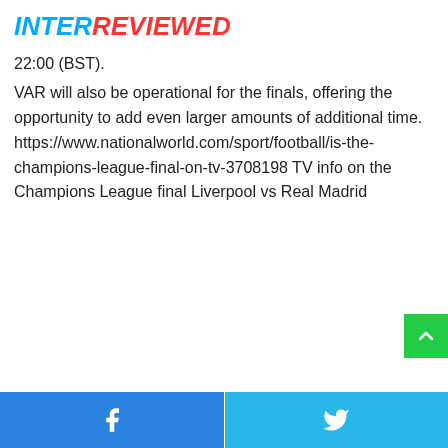INTERREVIEWED
22:00 (BST).
VAR will also be operational for the finals, offering the opportunity to add even larger amounts of additional time. https://www.nationalworld.com/sport/football/is-the-champions-league-final-on-tv-3708198 TV info on the Champions League final Liverpool vs Real Madrid